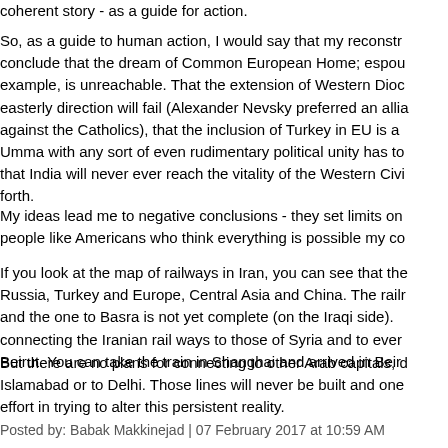coherent story - as a guide for action.
So, as a guide to human action, I would say that my reconstruction would conclude that the dream of Common European Home; espoused by, for example, is unreachable. That the extension of Western Dioc... in the easterly direction will fail (Alexander Nevsky preferred an alliance with... against the Catholics), that the inclusion of Turkey in EU is a... Umma with any sort of even rudimentary political unity has to... that India will never ever reach the vitality of the Western Civi... forth.
My ideas lead me to negative conclusions - they set limits on... people like Americans who think everything is possible my co...
If you look at the map of railways in Iran, you can see that the... Russia, Turkey and Europe, Central Asia and China. The railr... and the one to Basra is not yet complete (on the Iraqi side). connecting the Iranian rail ways to those of Syria and to ever... Beirut. You can take the train in Shanghai and arrived in Beir...
But there are no plans for connecting to other Arab capitals, d... Islamabad or to Delhi. Those lines will never be built and one... effort in trying to alter this persistent reality.
Posted by: Babak Makkinejad | 07 February 2017 at 10:59 AM